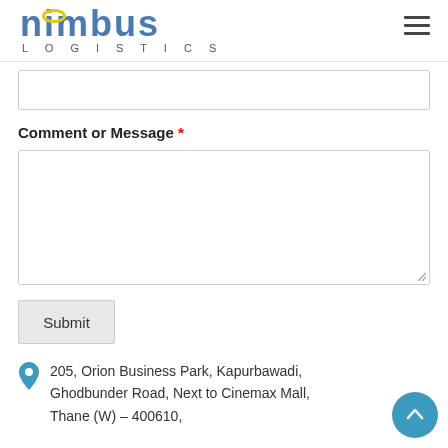nimbus LOGISTICS
[Figure (logo): Nimbus Logistics logo with halo above letter i]
Comment or Message *
Submit
205, Orion Business Park, Kapurbawadi, Ghodbunder Road, Next to Cinemax Mall, Thane (W) – 400610,